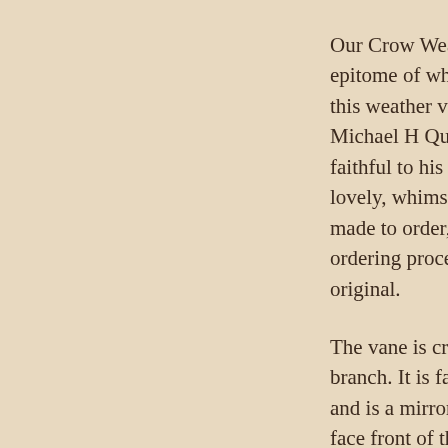Our Crow Weathe epitome of what is this weather vane Michael H Quint*. faithful to his artis lovely, whimsical w made to order, an ordering process, original.

The vane is crafte branch. It is fabric and is a mirror ima face front of these the wind blows. T been gilded gold. daylight will catch maintain a bright